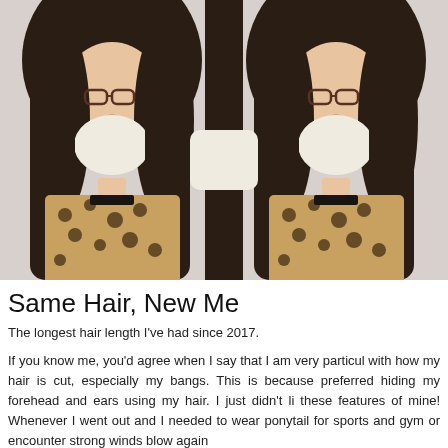[Figure (photo): Mirror-image photo of a young woman with long dark hair, glasses, and a leopard-print top, seated in front of a light-colored sofa. The photo is duplicated side by side creating a mirror effect.]
Same Hair, New Me
The longest hair length I've had since 2017.
If you know me, you'd agree when I say that I am very particular with how my hair is cut, especially my bangs. This is because preferred hiding my forehead and ears using my hair. I just didn't li these features of mine! Whenever I went out and I needed to wear ponytail for sports and gym or encounter strong winds blow again